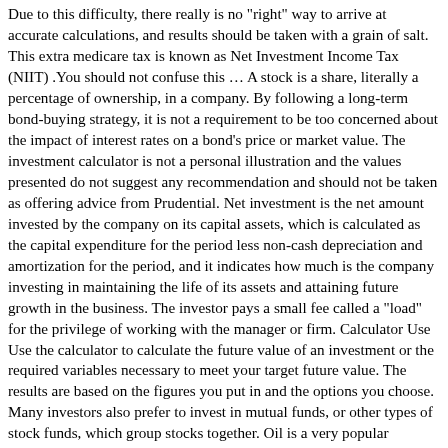Due to this difficulty, there really is no "right" way to arrive at accurate calculations, and results should be taken with a grain of salt. This extra medicare tax is known as Net Investment Income Tax (NIIT) .You should not confuse this … A stock is a share, literally a percentage of ownership, in a company. By following a long-term bond-buying strategy, it is not a requirement to be too concerned about the impact of interest rates on a bond's price or market value. The investment calculator is not a personal illustration and the values presented do not suggest any recommendation and should not be taken as offering advice from Prudential. Net investment is the net amount invested by the company on its capital assets, which is calculated as the capital expenditure for the period less non-cash depreciation and amortization for the period, and it indicates how much is the company investing in maintaining the life of its assets and attaining future growth in the business. The investor pays a small fee called a "load" for the privilege of working with the manager or firm. Calculator Use Use the calculator to calculate the future value of an investment or the required variables necessary to meet your target future value. The results are based on the figures you put in and the options you choose. Many investors also prefer to invest in mutual funds, or other types of stock funds, which group stocks together. Oil is a very popular investment, and demand for oil is strong as the need for gasoline is always considerable. Investing in silver on the other hand, is very largely determined by the demand for that commodity in photovoltaics, the automobile industry, and other practical uses. Discounted Gift Trust Discount Calculator Estimate the potential discount which your … Buying bonds from companies that are highly rated for being low-risk by the mentioned agencies is a better fit this money, as a return of interest. But at t…